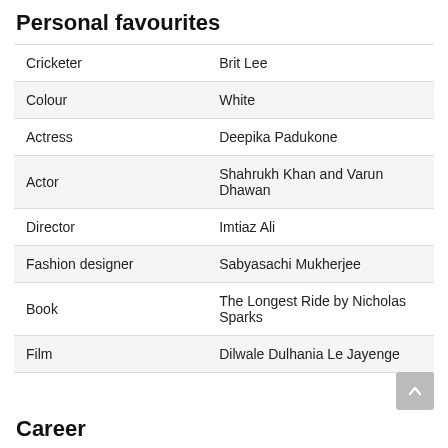Personal favourites
| Cricketer | Brit Lee |
| Colour | White |
| Actress | Deepika Padukone |
| Actor | Shahrukh Khan and Varun Dhawan |
| Director | Imtiaz Ali |
| Fashion designer | Sabyasachi Mukherjee |
| Book | The Longest Ride by Nicholas Sparks |
| Film | Dilwale Dulhania Le Jayenge |
Career